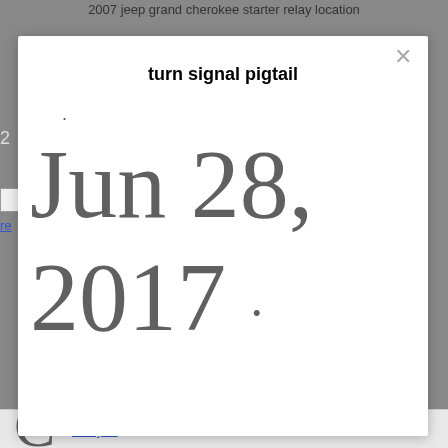2007 jeep grand cherokee starter relay location
turn signal pigtail
Jun 28, 2017 ·